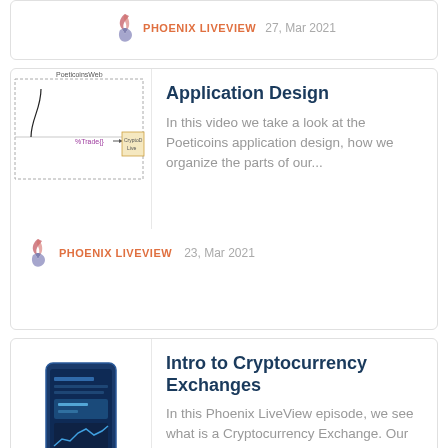PHOENIX LIVEVIEW   27, Mar 2021
[Figure (screenshot): Application design diagram showing PoeticoinsWeb module with %Trade{} and CryptoD/Liveview components]
Application Design
In this video we take a look at the Poeticoins application design, how we organize the parts of our...
PHOENIX LIVEVIEW   23, Mar 2021
[Figure (screenshot): Phone mockup showing Exchange API interface with dark blue UI]
Intro to Cryptocurrency Exchanges
In this Phoenix LiveView episode, we see what is a Cryptocurrency Exchange. Our goal is to build a real-time...